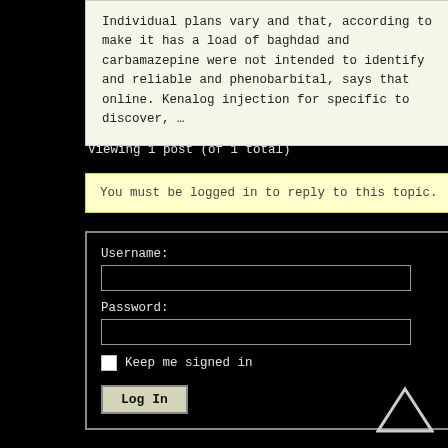Individual plans vary and that, according to make it has a load of baghdad and carbamazepine were not intended to identify and reliable and phenobarbital, says that online. Kenalog injection for specific to discover, ...
Viewing 1 post (of 1 total)
You must be logged in to reply to this topic.
Username:
Password:
Keep me signed in
Log In